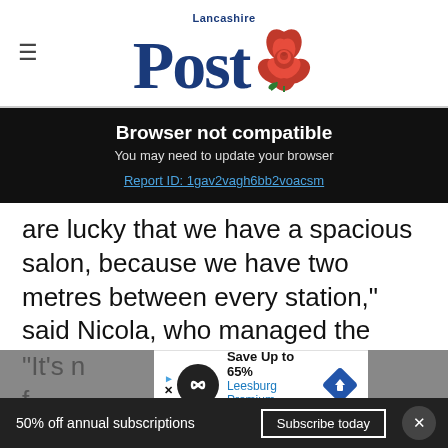Lancashire Post
Browser not compatible
You may need to update your browser
Report ID: 1gav2vagh6bb2voacsm
are lucky that we have a spacious salon, because we have two metres between every station," said Nicola, who managed the salon for 17 years before buying the business in 2019.
[Figure (other): Advertisement banner: Save Up to 65% Leesburg Premium Outlets]
"It's n... ence f...
50% off annual subscriptions  Subscribe today